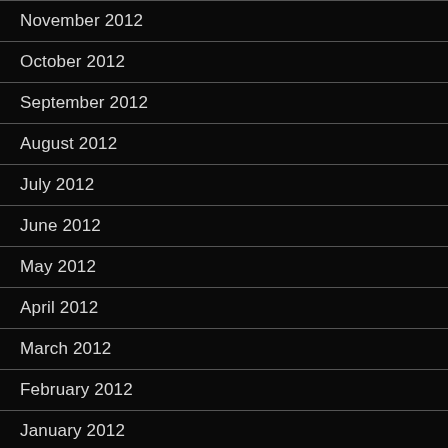November 2012
October 2012
September 2012
August 2012
July 2012
June 2012
May 2012
April 2012
March 2012
February 2012
January 2012